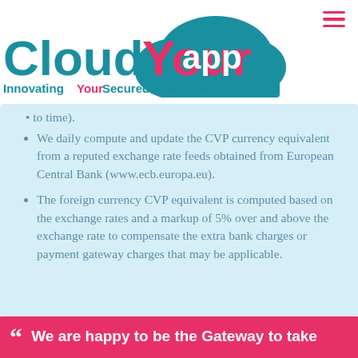[Figure (logo): Cloud Your App logo with teal/blue cloud shape and pink 'Your' text; tagline: Innovating Your Secured Cloud Ever]
to time).
We daily compute and update the CVP currency equivalent from a reputed exchange rate feeds obtained from European Central Bank (www.ecb.europa.eu).
The foreign currency CVP equivalent is computed based on the exchange rates and a markup of 5% over and above the exchange rate to compensate the extra bank charges or payment gateway charges that may be applicable.
“ We are happy to be the Gateway to take